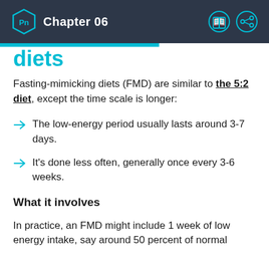Chapter 06
diets
Fasting-mimicking diets (FMD) are similar to the 5:2 diet, except the time scale is longer:
The low-energy period usually lasts around 3-7 days.
It's done less often, generally once every 3-6 weeks.
What it involves
In practice, an FMD might include 1 week of low energy intake, say around 50 percent of normal